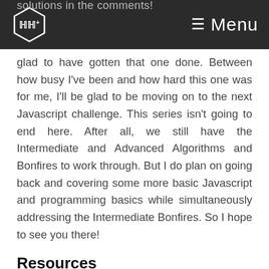solutions in the comments! [logo] Menu
glad to have gotten that one done. Between how busy I've been and how hard this one was for me, I'll be glad to be moving on to the next Javascript challenge. This series isn't going to end here. After all, we still have the Intermediate and Advanced Algorithms and Bonfires to work through. But I do plan on going back and covering some more basic Javascript and programming basics while simultaneously addressing the Intermediate Bonfires. So I hope to see you there!
Resources
Self Taught JS, Rot13 Caesar Cipher
Invaluable resource that heavily inspired the solution I came up with for this Bonfire.
Coding Tutorials 360, Caesar's Cipher